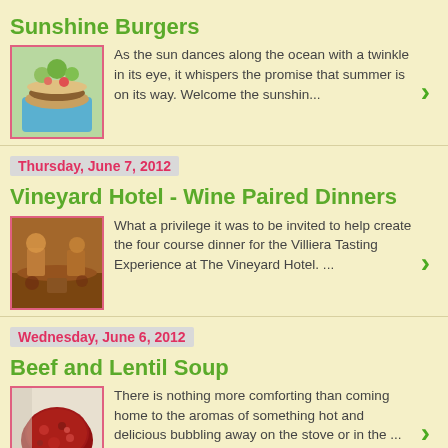Sunshine Burgers
[Figure (photo): Photo of a burger dish with greens on a blue plate]
As the sun dances along the ocean with a twinkle in its eye, it whispers the promise that summer is on its way. Welcome the sunshin...
Thursday, June 7, 2012
Vineyard Hotel - Wine Paired Dinners
[Figure (photo): Photo of a restaurant interior with warm lighting and diners]
What a privilege it was to be invited to help create the four course dinner for the Villiera Tasting Experience at The Vineyard Hotel. ...
Wednesday, June 6, 2012
Beef and Lentil Soup
[Figure (photo): Photo of a bowl of beef and lentil soup]
There is nothing more comforting than coming home to the aromas of something hot and delicious bubbling away on the stove or in the ...